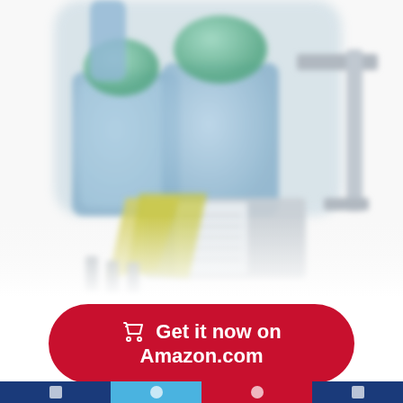[Figure (photo): Close-up photo of a refrigerator water inlet valve assembly with blue plastic body, green diaphragm caps, metal mounting bracket, yellow insulation, and a white label with specifications. Background is white/light grey, image is slightly blurred/out-of-focus at edges.]
Get it now on Amazon.com
What We Like